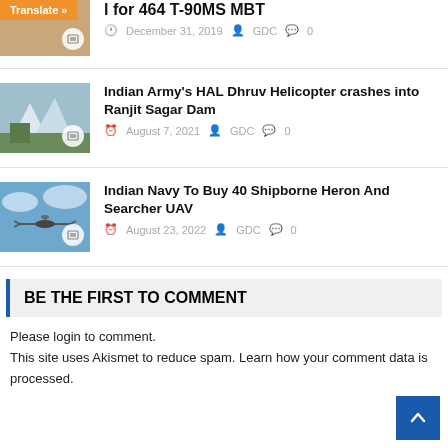[Figure (photo): Thumbnail photo partially visible at top, with orange Translate button overlay]
l for 464 T-90MS MBT
December 31, 2019 · GDC · 0 comments
[Figure (photo): Helicopter near snowy mountains and Ranjit Sagar Dam]
Indian Army's HAL Dhruv Helicopter crashes into Ranjit Sagar Dam
August 7, 2021 · GDC · 0 comments
[Figure (photo): UAV drone flying in blue sky with clouds]
Indian Navy To Buy 40 Shipborne Heron And Searcher UAV
August 23, 2022 · GDC · 0 comments
BE THE FIRST TO COMMENT
Please login to comment.
This site uses Akismet to reduce spam. Learn how your comment data is processed.